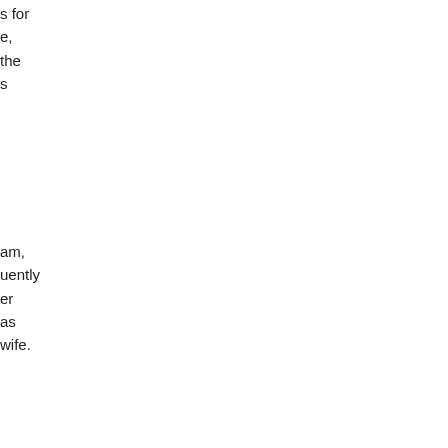s for
e,
the
s
am,
uently
er
as
wife.
tive
.
//
eare
ne
nd
ed
eare
.